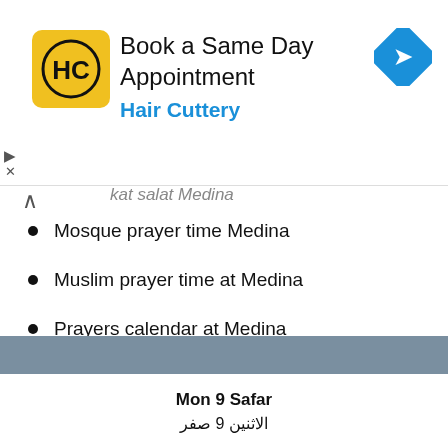[Figure (screenshot): Hair Cuttery advertisement banner with yellow logo showing HC letters, text 'Book a Same Day Appointment' and 'Hair Cuttery' in blue, and a blue navigation diamond icon on the right]
kat salat Medina
Mosque prayer time Medina
Muslim prayer time at Medina
Prayers calendar at Medina
Prayer times for cities around Medina
Sultanah (4 km)
Mon 9 Safar
الاثنين 9 صفر